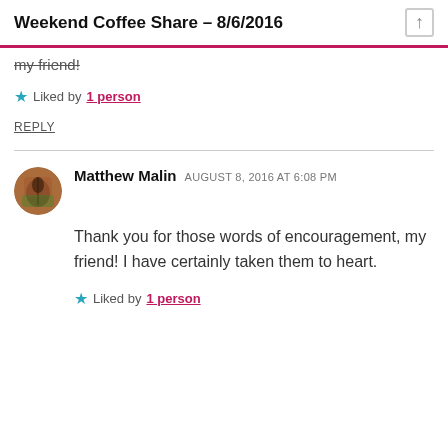Weekend Coffee Share – 8/6/2016
my friend!
Liked by 1 person
REPLY
Matthew Malin AUGUST 8, 2016 AT 6:08 PM
Thank you for those words of encouragement, my friend! I have certainly taken them to heart.
Liked by 1 person